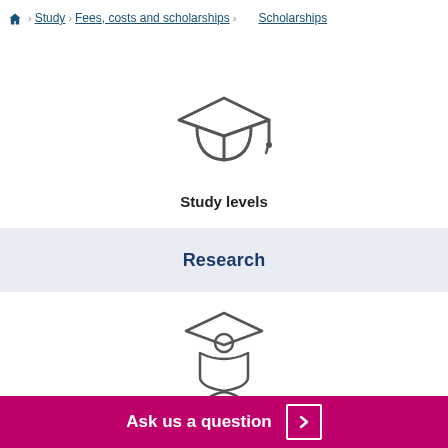🏠 Study › Fees, costs and scholarships › Scholarships
[Figure (illustration): Graduation cap icon (mortarboard) outline style]
Study levels
Research
[Figure (illustration): Graduate/scholar icon with cap and gown outline style]
Stu...
Ask us a question ›